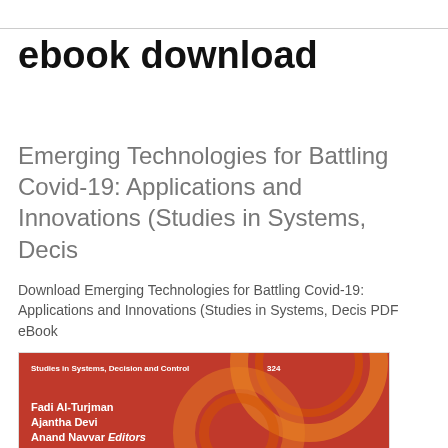ebook download
Emerging Technologies for Battling Covid-19: Applications and Innovations (Studies in Systems, Decis
Download Emerging Technologies for Battling Covid-19: Applications and Innovations (Studies in Systems, Decis PDF eBook
[Figure (photo): Book cover for 'Emerging Technologies for Battling Covid-19' - red cover with gear/cog illustration in orange, showing series title 'Studies in Systems, Decision and Control 324', authors Fadi Al-Turjman, Ajantha Devi, Anand Navvar Editors]